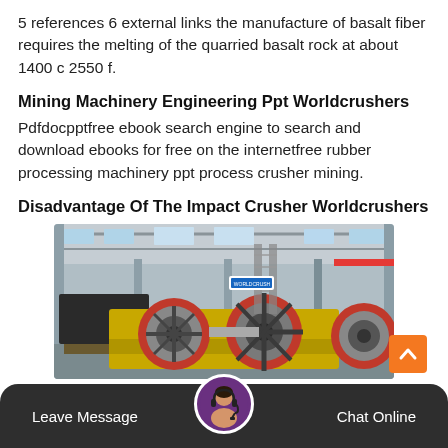5 references 6 external links the manufacture of basalt fiber requires the melting of the quarried basalt rock at about 1400 c 2550 f.
Mining Machinery Engineering Ppt Worldcrushers
Pdfdocpptfree ebook search engine to search and download ebooks for free on the internetfree rubber processing machinery ppt process crusher mining.
Disadvantage Of The Impact Crusher Worldcrushers
[Figure (photo): Industrial crusher machinery with large red and yellow flywheels/rollers inside a factory/warehouse setting]
Leave Message   Chat Online